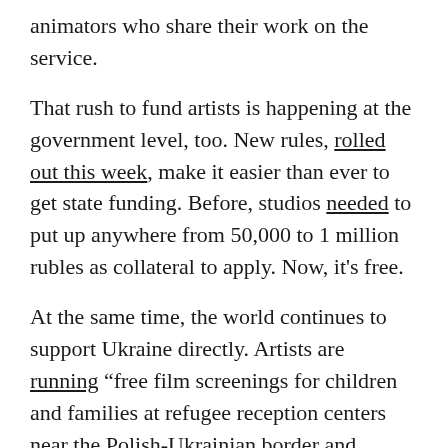animators who share their work on the service.
That rush to fund artists is happening at the government level, too. New rules, rolled out this week, make it easier than ever to get state funding. Before, studios needed to put up anywhere from 50,000 to 1 million rubles as collateral to apply. Now, it's free.
At the same time, the world continues to support Ukraine directly. Artists are running "free film screenings for children and families at refugee reception centers near the Polish-Ukrainian border and throughout Poland." Streaming platforms in Germany and Poland are providing free Nickelodeon shows to Ukrainian refugee children. And France is rolling out a new fund for Ukrainian artists — and for Russian opponents of Putin who've fled their home country.